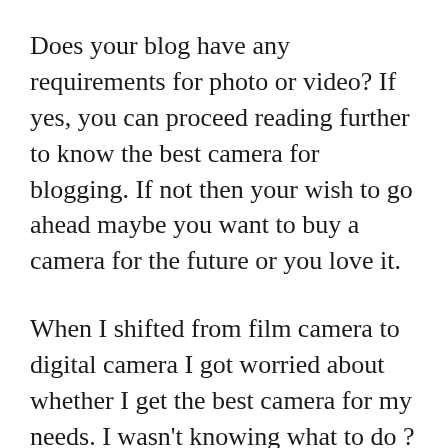Does your blog have any requirements for photo or video? If yes, you can proceed reading further to know the best camera for blogging. If not then your wish to go ahead maybe you want to buy a camera for the future or you love it.
When I shifted from film camera to digital camera I got worried about whether I get the best camera for my needs. I wasn't knowing what to do ? because I didn't know what my actual needs were. It was my passion that was driving me.
I ended up purchasing a DSLR Canon 60D. It was well in my budget and I loved the camera as a beginner photographer. Not only that, purchasing the 60D...